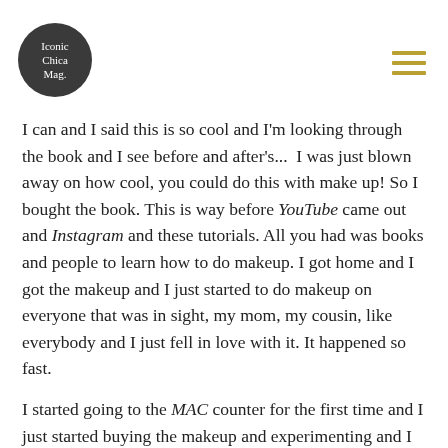Iconic Chica Mag.
I can and I said this is so cool and I'm looking through the book and I see before and after's... I was just blown away on how cool, you could do this with make up! So I bought the book. This is way before YouTube came out and Instagram and these tutorials. All you had was books and people to learn how to do makeup. I got home and I got the makeup and I just started to do makeup on everyone that was in sight, my mom, my cousin, like everybody and I just fell in love with it. It happened so fast.
I started going to the MAC counter for the first time and I just started buying the makeup and experimenting and I somehow got a job at MAC. A couple of months later, after I started learning makeup, it just happens that I walked in and I got recruited. I started working for MAC at a small counter. I learned everything there. I made a lot of mistakes. I had a lot of